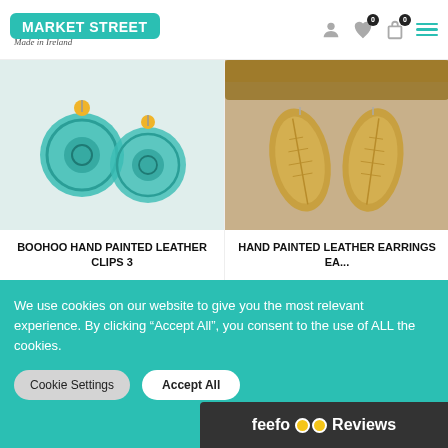[Figure (screenshot): Market Street brand logo — teal/turquoise rectangle with white bold text 'MARKET STREET' and italic subtitle 'Made in Ireland']
[Figure (photo): Boohoo hand painted leather clips — teal/turquoise circular earrings with yellow beads on white background]
[Figure (photo): Hand painted leather earrings — gold leaf-shaped earrings on wooden background]
BOOHOO HAND PAINTED LEATHER CLIPS 3
€33.00
HAND PAINTED LEATHER EARRINGS EA...
€33.00
We use cookies on our website to give you the most relevant experience. By clicking “Accept All”, you consent to the use of ALL the cookies.
Cookie Settings
Accept All
[Figure (logo): Feefo reviews logo — dark bar with feefo text and two yellow eye/circle icons and 'Reviews' label]